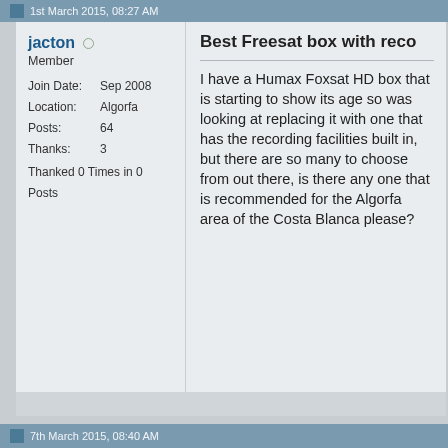1st March 2015, 08:27 AM
jacton
Member
Join Date: Sep 2008
Location: Algorfa
Posts: 64
Thanks: 3
Thanked 0 Times in 0 Posts
Best Freesat box with reco
I have a Humax Foxsat HD box that is starting to show its age so was looking at replacing it with one that has the recording facilities built in, but there are so many to choose from out there, is there any one that is recommended for the Algorfa area of the Costa Blanca please?
7th March 2015, 08:40 AM